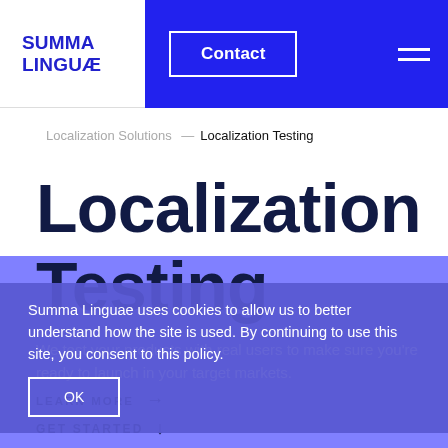SUMMA LINGUÆ | Contact
Localization Solutions → Localization Testing
Localization Testing
Summa Linguae uses cookies to allow us to better understand how the site is used. By continuing to use this site, you consent to this policy.
OK
We test your products with real users to make sure you're ready to launch in your target markets.
LEARN MORE →
GET STARTED ↓